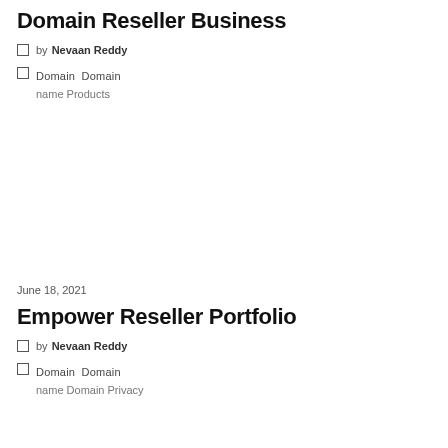Domain Reseller Business
by Nevaan Reddy
Domain Domain name Products
June 18, 2021
Empower Reseller Portfolio
by Nevaan Reddy
Domain Domain name Domain Privacy